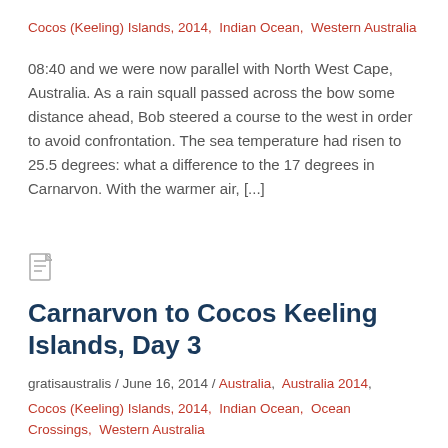Cocos (Keeling) Islands, 2014, Indian Ocean, Western Australia
08:40 and we were now parallel with North West Cape, Australia. As a rain squall passed across the bow some distance ahead, Bob steered a course to the west in order to avoid confrontation. The sea temperature had risen to 25.5 degrees: what a difference to the 17 degrees in Carnarvon. With the warmer air, [...]
Carnarvon to Cocos Keeling Islands, Day 3
gratisaustralis / June 16, 2014 / Australia, Australia 2014, Cocos (Keeling) Islands, 2014, Indian Ocean, Ocean Crossings, Western Australia